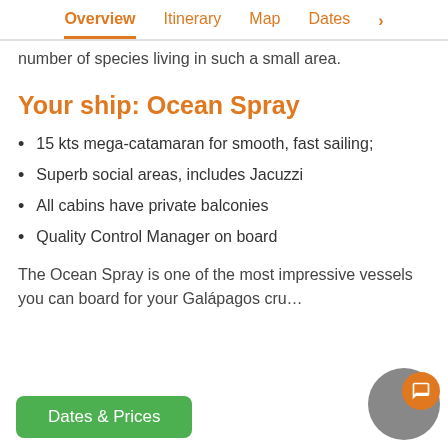Overview  Itinerary  Map  Dates >
number of species living in such a small area.
Your ship: Ocean Spray
15 kts mega-catamaran for smooth, fast sailing;
Superb social areas, includes Jacuzzi
All cabins have private balconies
Quality Control Manager on board
The Ocean Spray is one of the most impressive vessels you can board for your Galápagos cru…